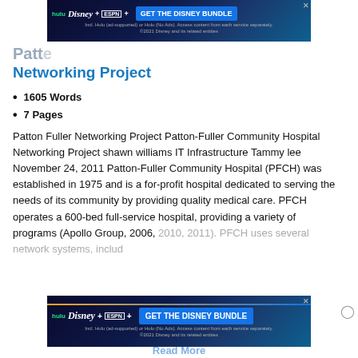[Figure (other): Hulu Disney+ ESPN+ GET THE DISNEY BUNDLE advertisement banner at top of page. Dark blue gradient background with streaming service logos and a blue button. Fine print: Incl. Hulu (ad-supported) or Hulu (No Ads). Access content from each service separately. ©2021 Disney and its related entities.]
Patte... Networking Project
1605 Words
7 Pages
Patton Fuller Networking Project Patton-Fuller Community Hospital Networking Project shawn williams IT Infrastructure Tammy lee November 24, 2011 Patton-Fuller Community Hospital (PFCH) was established in 1975 and is a for-profit hospital dedicated to serving the needs of its community by providing quality medical care. PFCH operates a 600-bed full-service hospital, providing a variety of programs (Apollo Group, 2006, 2010, 2011). PFCH uses several network systems, includ
[Figure (other): Hulu Disney+ ESPN+ GET THE DISNEY BUNDLE advertisement banner at bottom of page. Dark blue gradient background with streaming service logos and a blue button. Fine print: Incl. Hulu (ad-supported) or Hulu (No Ads). Access content from each service separately. ©2021 Disney and its related entities.]